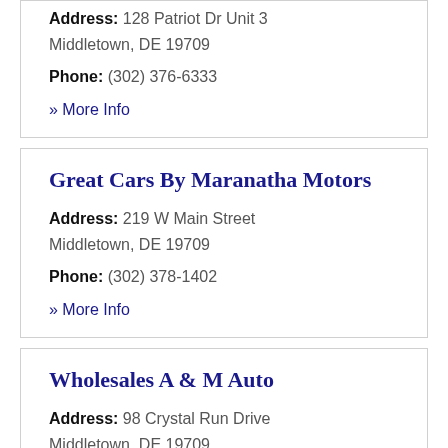Address: 128 Patriot Dr Unit 3 Middletown, DE 19709
Phone: (302) 376-6333
» More Info
Great Cars By Maranatha Motors
Address: 219 W Main Street Middletown, DE 19709
Phone: (302) 378-1402
» More Info
Wholesales A & M Auto
Address: 98 Crystal Run Drive Middletown, DE 19709